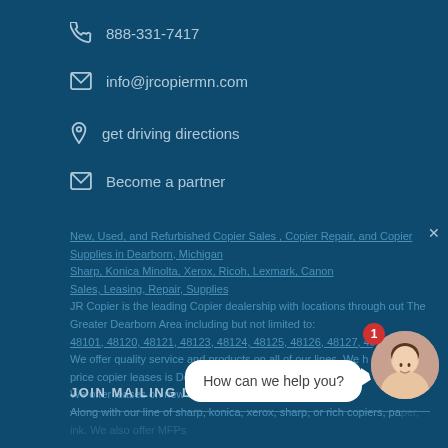888-331-7417
info@jrcopiermn.com
get driving directions
Become a partner
New, Used, and Refurbished Copier Sales , Copier Repair, and Copier Supplies in Dearborn, Michigan
Sharp, Konica Minolta, Xerox, Ricoh, Lexmark, Canon
Sales, Leasing, Repair, Supplies
JR Copier is the leading Copier dealership with locations through out The Greater Dearborn Area including but not limited to:
48101, 48120, 48121, 48123, 48124, 48125, 48126, 48127, 48128
We offer quality service and products on all of our lines. We have the best price copier leases is Dearborn, Michigan!
We offer leases on new and refurbished machines.
Along with our line of sharp, konica, xerox, sharp, or rich copiers, paper, ink. We also offer MFPs
JOIN MAILING LIST
[Figure (illustration): Chat bubble saying 'How can we help you?' with female avatar and red notification badge showing '1']